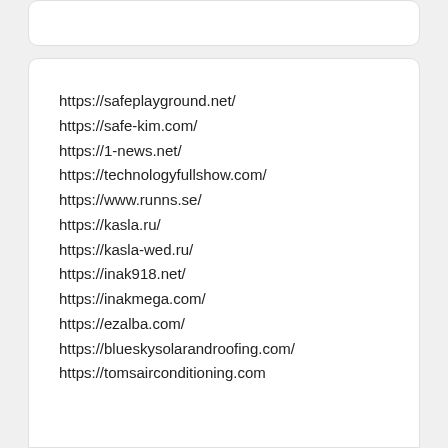https://safeplayground.net/
https://safe-kim.com/
https://1-news.net/
https://technologyfullshow.com/
https://www.runns.se/
https://kasla.ru/
https://kasla-wed.ru/
https://inak918.net/
https://inakmega.com/
https://ezalba.com/
https://blueskysolarandroofing.com/
https://tomsairconditioning.com